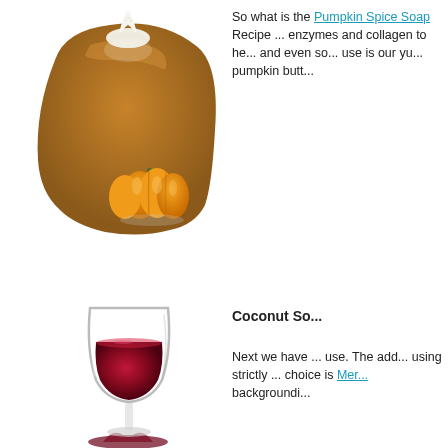[Figure (photo): A block of pumpkin pie soap with whipped cream topping on top, and a small orange pumpkin in the foreground, on white background]
So what is the Pumpkin Spice Soap Recipe ... enzymes and collagen to he... and even so... use is our yu... pumpkin butt...
[Figure (photo): A glass of red wine with dark red liquid and a small pile of dark red powder at the base, on white background]
Coconut So...
Next we have ... use. The add... using strictly ... choice is Mer... backgroundi...